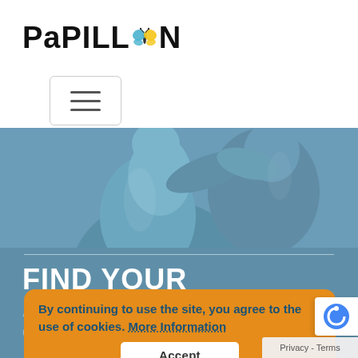[Figure (logo): Papillon logo with butterfly icon replacing the O, black bold text]
[Figure (other): Hamburger menu toggle button with three horizontal lines]
[Figure (photo): Blue-tinted statue photo showing two figures embracing]
FIND YOUR EXCURSION
By continuing to use the site, you agree to the use of cookies. More Information
Accept
Privacy - Terms